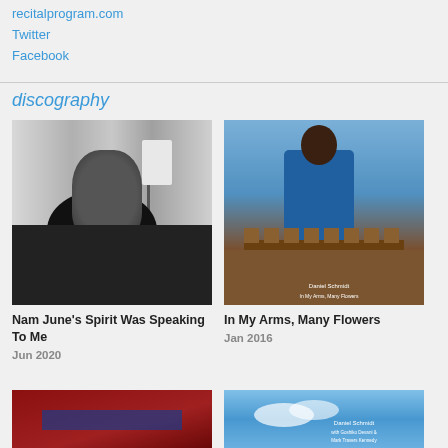recitalprogram.com
Twitter
Facebook
discography
[Figure (photo): Black and white photo of a man reclining on a sofa in a hotel room with floor lamp and curtains]
Nam June's Spirit Was Speaking To Me
Jun 2020
[Figure (photo): Color photo of Daniel Schmidt playing marimba, wearing blue clothing, with album text 'In My Arms, Many Flowers']
In My Arms, Many Flowers
Jan 2016
[Figure (photo): Album cover with dark red/maroon background]
[Figure (photo): Album cover with blue sky background, text reads Daniel Schmidt]